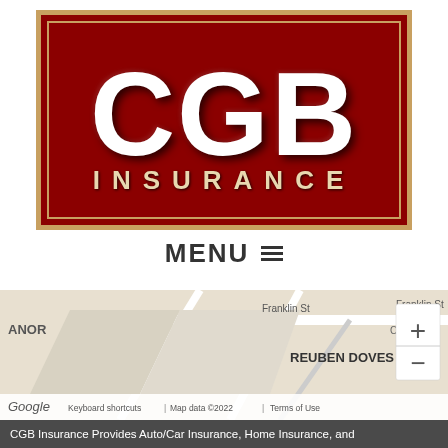[Figure (logo): CGB Insurance logo — dark red/crimson background with large white letters CGB and the word INSURANCE below in spaced gold/cream lettering, framed with a gold border]
MENU ☰
[Figure (map): Google Maps screenshot showing street map with labels ANOR, Franklin St, REUBEN DOVES, Ca (partial), ter Rd (partial), with zoom +/- controls on right side, Google logo and map attribution footer: Keyboard shortcuts | Map data ©2022 | Terms of Use]
CGB Insurance Provides Auto/Car Insurance, Home Insurance, and